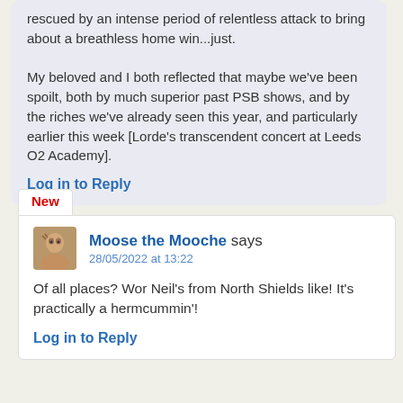rescued by an intense period of relentless attack to bring about a breathless home win...just.

My beloved and I both reflected that maybe we've been spoilt, both by much superior past PSB shows, and by the riches we've already seen this year, and particularly earlier this week [Lorde's transcendent concert at Leeds O2 Academy].
Log in to Reply
New
Moose the Mooche says
28/05/2022 at 13:22
Of all places? Wor Neil's from North Shields like! It's practically a hermcummin'!
Log in to Reply